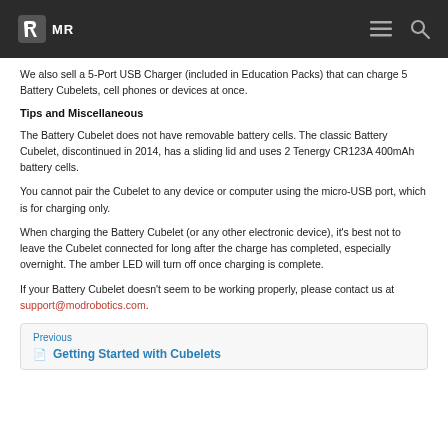MR [menu icon] [search icon]
We also sell a 5-Port USB Charger (included in Education Packs) that can charge 5 Battery Cubelets, cell phones or devices at once.
Tips and Miscellaneous
The Battery Cubelet does not have removable battery cells. The classic Battery Cubelet, discontinued in 2014, has a sliding lid and uses 2 Tenergy CR123A 400mAh battery cells.
You cannot pair the Cubelet to any device or computer using the micro-USB port, which is for charging only.
When charging the Battery Cubelet (or any other electronic device), it’s best not to leave the Cubelet connected for long after the charge has completed, especially overnight. The amber LED will turn off once charging is complete.
If your Battery Cubelet doesn’t seem to be working properly, please contact us at support@modrobotics.com.
Previous
📄 Getting Started with Cubelets